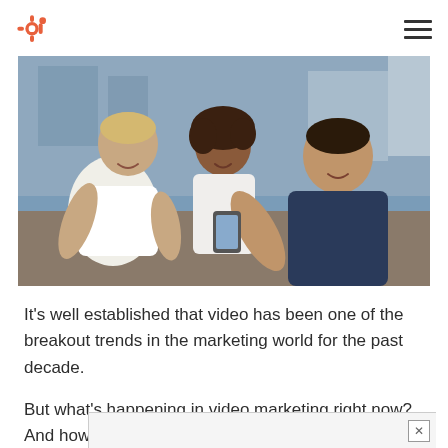HubSpot
[Figure (photo): Three young adults sitting outdoors, smiling and looking at a smartphone together. One man in a white t-shirt on the left, a woman with curly hair in the middle, and a man in a navy blue shirt on the right showing the phone screen.]
It’s well established that video has been one of the breakout trends in the marketing world for the past decade.
But what’s happening in video marketing right now? And how does its growth and success stand up to the twis…